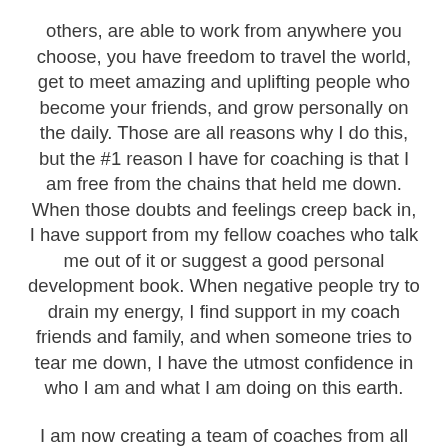others, are able to work from anywhere you choose, you have freedom to travel the world, get to meet amazing and uplifting people who become your friends, and grow personally on the daily. Those are all reasons why I do this, but the #1 reason I have for coaching is that I am free from the chains that held me down. When those doubts and feelings creep back in, I have support from my fellow coaches who talk me out of it or suggest a good personal development book. When negative people try to drain my energy, I find support in my coach friends and family, and when someone tries to tear me down, I have the utmost confidence in who I am and what I am doing on this earth.
I am now creating a team of coaches from all over who want to do what I do. A new passion of mine is helping people to get rid of limiting beliefs and to go